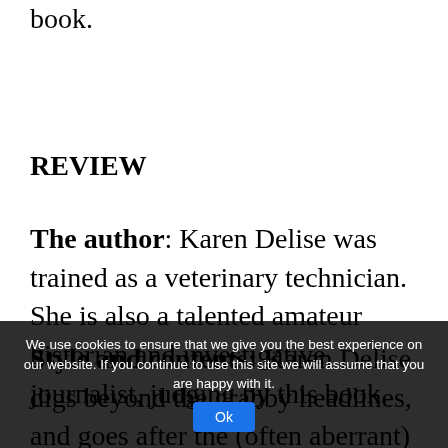book.
REVIEW
The author: Karen Delise was trained as a veterinary technician. She is also a talented amateur historian and investigative journalist, judging by this book.
Style and contents: Karen Delise digs beyond the grabby headlines, and goes after the (often aberrant) reasons behind the dramatic attacks reported in the [book]. She then analyzes why each particular incident took place.
We use cookies to ensure that we give you the best experience on our website. If you continue to use this site we will assume that you are happy with it. Ok